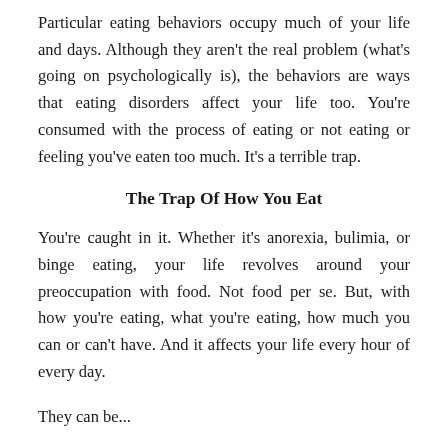Particular eating behaviors occupy much of your life and days. Although they aren't the real problem (what's going on psychologically is), the behaviors are ways that eating disorders affect your life too. You're consumed with the process of eating or not eating or feeling you've eaten too much. It's a terrible trap.
The Trap Of How You Eat
You're caught in it. Whether it's anorexia, bulimia, or binge eating, your life revolves around your preoccupation with food. Not food per se. But, with how you're eating, what you're eating, how much you can or can't have. And it affects your life every hour of every day.
They can be...